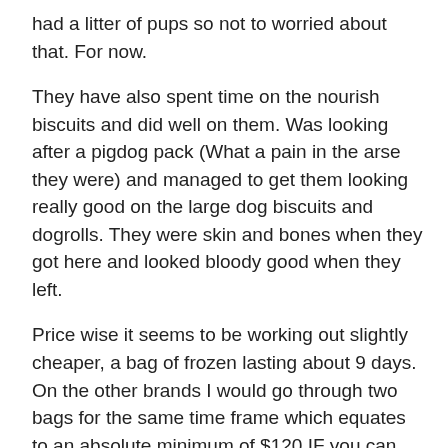had a litter of pups so not to worried about that. For now.
They have also spent time on the nourish biscuits and did well on them. Was looking after a pigdog pack (What a pain in the arse they were) and managed to get them looking really good on the large dog biscuits and dogrolls. They were skin and bones when they got here and looked bloody good when they left.
Price wise it seems to be working out slightly cheaper, a bag of frozen lasting about 9 days. On the other brands I would go through two bags for the same time frame which equates to an absolute minimum of $120 IF you can get it on special, which often you can't.
So far very happy with it. I must get a bag of the treats they have and see what the dogs think of them….